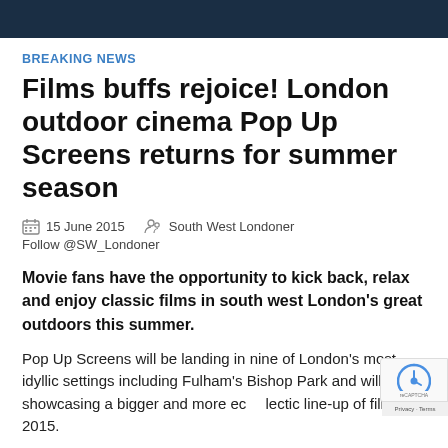BREAKING NEWS
Films buffs rejoice! London outdoor cinema Pop Up Screens returns for summer season
15 June 2015   South West Londoner
Follow @SW_Londoner
Movie fans have the opportunity to kick back, relax and enjoy classic films in south west London's great outdoors this summer.
Pop Up Screens will be landing in nine of London's most idyllic settings including Fulham's Bishop Park and will be showcasing a bigger and more ec... line-up of films for 2015.